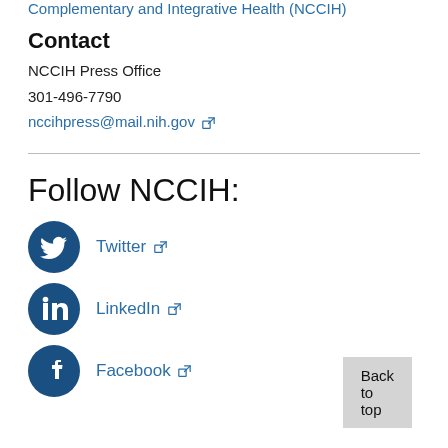Complementary and Integrative Health (NCCIH)
Contact
NCCIH Press Office
301-496-7790
nccihpress@mail.nih.gov
Follow NCCIH:
Twitter
LinkedIn
Facebook